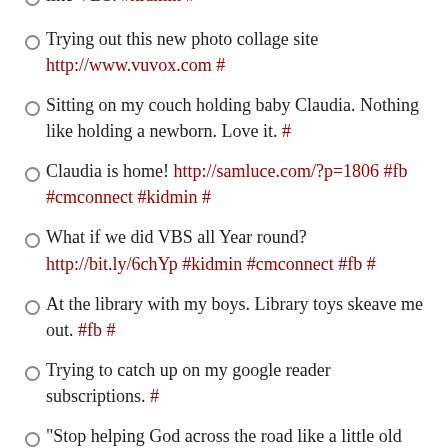like VBS. #kidmin #
Trying out this new photo collage site http://www.vuvox.com #
Sitting on my couch holding baby Claudia. Nothing like holding a newborn. Love it. #
Claudia is home! http://samluce.com/?p=1806 #fb #cmconnect #kidmin #
What if we did VBS all Year round? http://bit.ly/6chYp #kidmin #cmconnect #fb #
At the library with my boys. Library toys skeave me out. #fb #
Trying to catch up on my google reader subscriptions. #
"Stop helping God across the road like a little old lady." Bono #
Went 2 Amtrack 2 pick up my mother-in-law was told